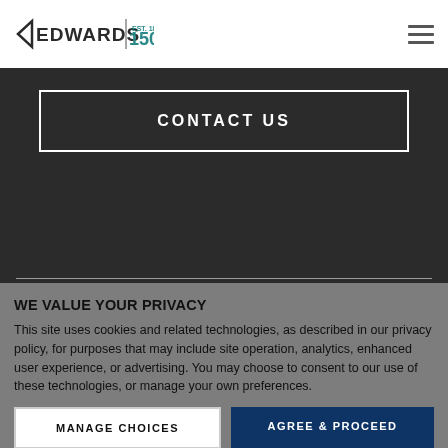EDWARDS 150 [logo/header]
CONTACT US
WE VALUE YOUR PRIVACY
This site uses cookies and related technologies, as described in our privacy policy, for purposes that may include site operation, analytics, enhanced user experience, or advertising. You may choose to consent to our use of these technologies, or manage your own preferences.
MANAGE CHOICES
AGREE & PROCEED
Privacy Policy